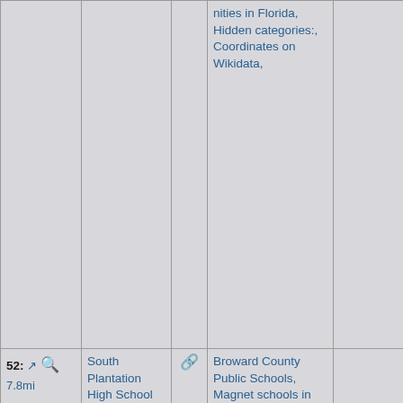| #/icons | Name | Link | Categories | Notes |
| --- | --- | --- | --- | --- |
|  |  |  | nities in Florida, Hidden categories:, Coordinates on Wikidata, |  |
| 52: ↗ 7.8mi 🚁 ↗ 🚗 🔍 📊 🔍 ⊕ 🔗 | South Plantation High School | 🔗 | Broward County Public Schools, Magnet schools in Florida, High schools in Broward County, Florida, Public high schools in Florida, Plantation, Florida, Hidden categories:, Coord... |  |